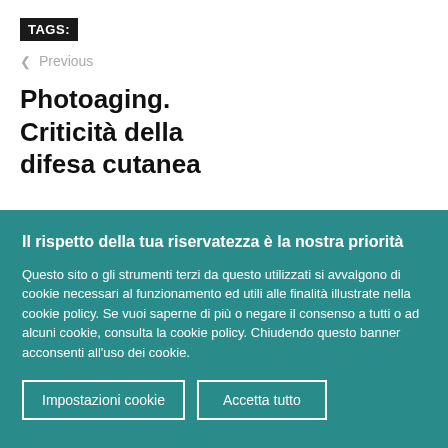TAGS:
< Previous
Photoaging. Criticità della difesa cutanea
Il rispetto della tua riservatezza è la nostra priorità
Questo sito o gli strumenti terzi da questo utilizzati si avvalgono di cookie necessari al funzionamento ed utili alle finalità illustrate nella cookie policy. Se vuoi saperne di più o negare il consenso a tutti o ad alcuni cookie, consulta la cookie policy. Chiudendo questo banner acconsenti all'uso dei cookie.
Impostazioni cookie   Accetta tutto